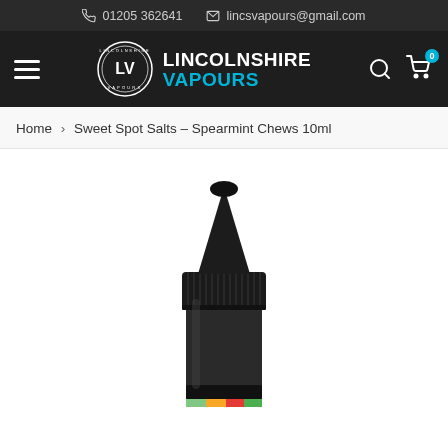📞 01205 362641   ✉ lincsvapours@gmail.com
[Figure (logo): Lincolnshire Vapours logo with circular LV badge and text 'LINCOLNSHIRE VAPOURS']
Home > Sweet Spot Salts – Spearmint Chews 10ml
[Figure (photo): Black dropper bottle with ribbed cap and conical tip, partially showing a colorful label at the bottom — product photo of Sweet Spot Salts Spearmint Chews 10ml e-liquid]